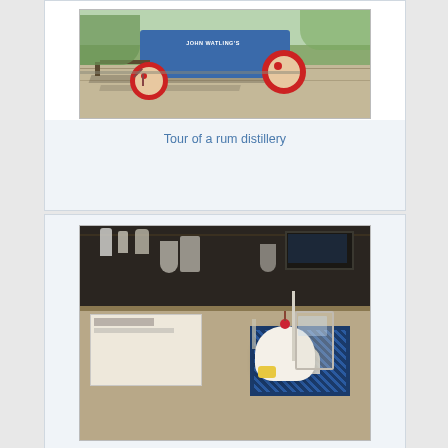[Figure (photo): Outdoor photo of a blue John Watling's branded wagon/cart with red wheels on a paved area with trees and shadows in the background]
Tour of a rum distillery
[Figure (photo): Indoor bar scene showing a cocktail dessert with whipped cream and cherry on top, with a straw, sitting on a bar counter with a decorative John Watling's placemat/coaster visible]